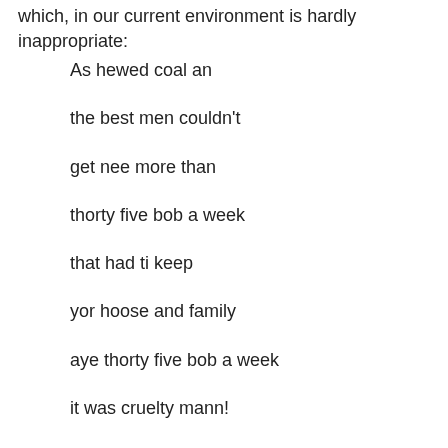which, in our current environment is hardly inappropriate:
As hewed coal an
the best men couldn't
get nee more than
thorty five bob a week
that had ti keep
yor hoose and family
aye thorty five bob a week
it was cruelty mann!
an the gaffer spoke